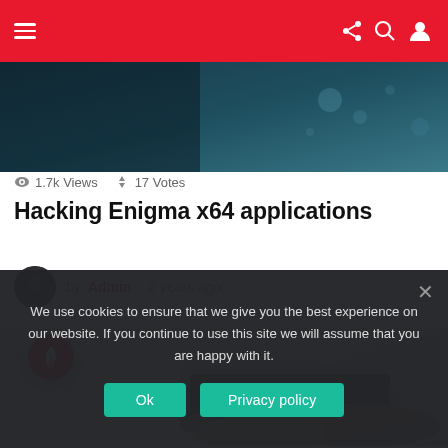Navigation bar with hamburger menu and icons (dark mode, share, search, user)
[Figure (photo): Dark teal/blue hero image at top of article]
1.7k Views  ↑↓ 17 Votes
Hacking Enigma x64 applications
by Admin • 2 years ago
[Figure (photo): Person typing on a laptop, hands visible on keyboard, wearing a bracelet, grey couch background. Red flame badge in top-left corner.]
We use cookies to ensure that we give you the best experience on our website. If you continue to use this site we will assume that you are happy with it.